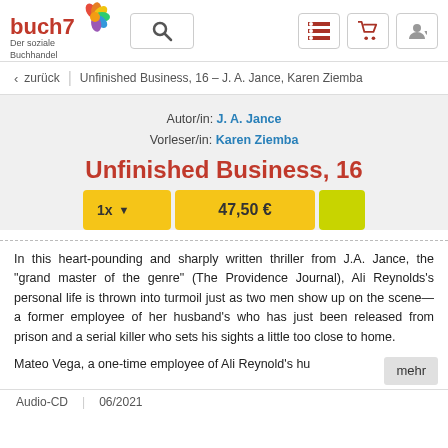[Figure (logo): buch7 logo with colorful flower and text 'Der soziale Buchhandel']
buch7 – Der soziale Buchhandel website header with search and navigation icons
zurück | Unfinished Business, 16 – J. A. Jance, Karen Ziemba
Autor/in: J. A. Jance
Vorleser/in: Karen Ziemba
Unfinished Business, 16
1x ▼   47,50 €
In this heart-pounding and sharply written thriller from J.A. Jance, the "grand master of the genre" (The Providence Journal), Ali Reynolds's personal life is thrown into turmoil just as two men show up on the scene—a former employee of her husband's who has just been released from prison and a serial killer who sets his sights a little too close to home.
Mateo Vega, a one-time employee of Ali Reynold's hu...
Audio-CD | 06/2021